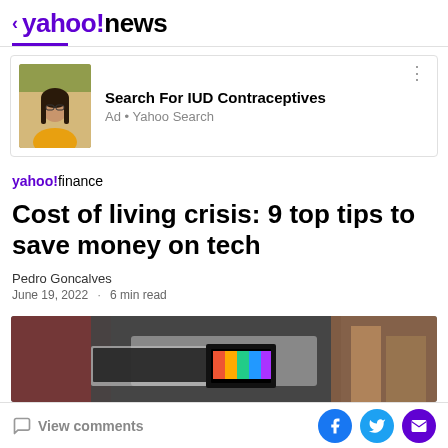< yahoo!news
[Figure (screenshot): Ad card with photo of a young woman with glasses and long dark hair, wearing a yellow top. Ad title: Search For IUD Contraceptives. Ad label: Ad • Yahoo Search]
Search For IUD Contraceptives
Ad • Yahoo Search
yahoo!finance
Cost of living crisis: 9 top tips to save money on tech
Pedro Goncalves
June 19, 2022 · 6 min read
[Figure (photo): Partially visible blurred photo of tech devices/electronics on a surface, with colorful display visible in center.]
View comments